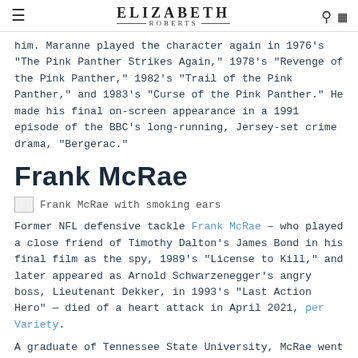ELIZABETH ROBERTS
him. Maranne played the character again in 1976's "The Pink Panther Strikes Again," 1978's "Revenge of the Pink Panther," 1982's "Trail of the Pink Panther," and 1983's "Curse of the Pink Panther." He made his final on-screen appearance in a 1991 episode of the BBC's long-running, Jersey-set crime drama, "Bergerac."
Frank McRae
[Figure (photo): Broken image placeholder with caption: Frank McRae with smoking ears]
Frank McRae with smoking ears
Former NFL defensive tackle Frank McRae – who played a close friend of Timothy Dalton's James Bond in his final film as the spy, 1989's "License to Kill," and later appeared as Arnold Schwarzenegger's angry boss, Lieutenant Dekker, in 1993's "Last Action Hero" — died of a heart attack in April 2021, per Variety.
A graduate of Tennessee State University, McRae went